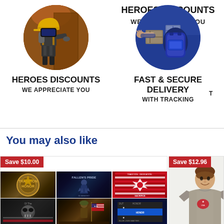[Figure (photo): Circular photo of a firefighter in full gear with yellow helmet, entering a smoky building]
HEROES DISCOUNTS
WE APPRECIATE YOU
[Figure (photo): Circular photo of a delivery person handling packages with a blue/military bag]
FAST & SECURE DELIVERY
WITH TRACKING
You may also like
[Figure (photo): Product card showing Save $10.00 badge with a grid of 6 patriotic/military-themed poster images]
[Figure (photo): Product card showing Save $12.96 badge with a man wearing a military-style t-shirt]